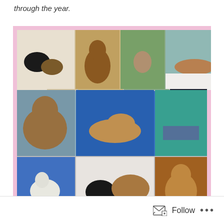through the year.
[Figure (photo): Photo collage of rabbits (bunnies) in various settings and poses, arranged in a 3-row grid with pink border. Caption reads: Ella the Fairy Bunny & Merlin the Magical with heart symbols.]
Share this:
Follow ...